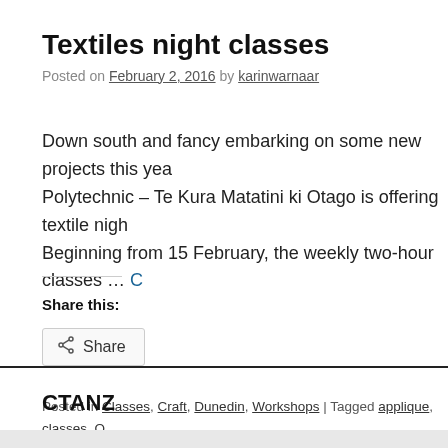Textiles night classes
Posted on February 2, 2016 by karinwarnaar
Down south and fancy embarking on some new projects this yea… Polytechnic – Te Kura Matatini ki Otago is offering textile nigh… Beginning from 15 February, the weekly two-hour classes … C…
Share this:
Share
Posted in Classes, Craft, Dunedin, Workshops | Tagged applique, classes, O… | Leave a comment
CTANZ